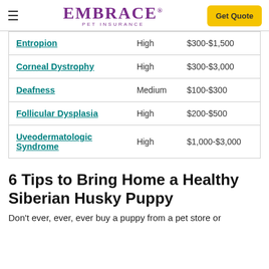EMBRACE PET INSURANCE — Get Quote
| Condition | Likelihood | Cost |
| --- | --- | --- |
| Entropion | High | $300-$1,500 |
| Corneal Dystrophy | High | $300-$3,000 |
| Deafness | Medium | $100-$300 |
| Follicular Dysplasia | High | $200-$500 |
| Uveodermatologic Syndrome | High | $1,000-$3,000 |
6 Tips to Bring Home a Healthy Siberian Husky Puppy
Don't ever, ever, ever buy a puppy from a pet store or